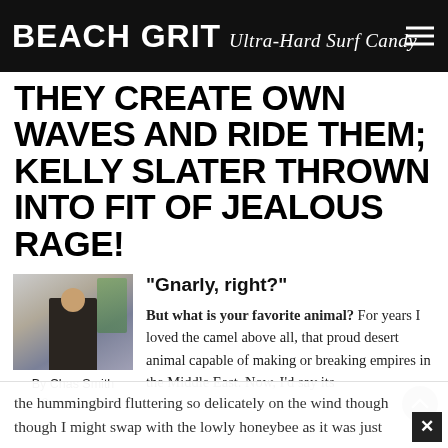BEACH GRIT Ultra-Hard Surf Candy
THEY CREATE OWN WAVES AND RIDE THEM; KELLY SLATER THROWN INTO FIT OF JEALOUS RAGE!
[Figure (photo): Author photo of Chas Smith outdoors with palm tree in background]
By Chas Smith
3 years ago
"Gnarly, right?"
But what is your favorite animal? For years I loved the camel above all, that proud desert animal capable of making or breaking empires in the Middle East. Now, I'd say its the hummingbird fluttering so delicately on the wind though though I might swap with the lowly honeybee as it was just